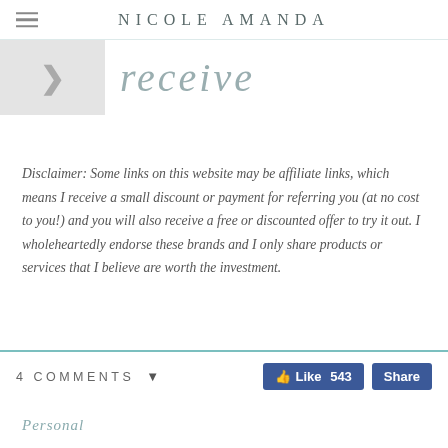NICOLE AMANDA
[Figure (illustration): Navigation arrow box on left with a right-pointing chevron on light gray background, and a cursive/script decorative text element on the right reading 'receive' in italic script style]
Disclaimer: Some links on this website may be affiliate links, which means I receive a small discount or payment for referring you (at no cost to you!) and you will also receive a free or discounted offer to try it out. I wholeheartedly endorse these brands and I only share products or services that I believe are worth the investment.
4 COMMENTS
Personal